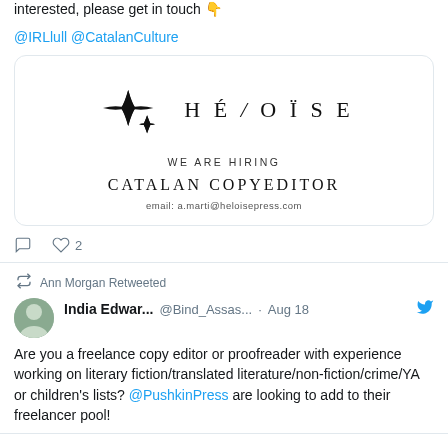interested, please get in touch 👇
@IRLlull @CatalanCulture
[Figure (other): Heloise Press hiring card showing star logo, HE/LOISE name, WE ARE HIRING, CATALAN COPYEDITOR, email: a.marti@heloisepress.com]
♡ 2
Ann Morgan Retweeted
India Edwar... @Bind_Assas... · Aug 18
Are you a freelance copy editor or proofreader with experience working on literary fiction/translated literature/non-fiction/crime/YA or children's lists? @PushkinPress are looking to add to their freelancer pool!